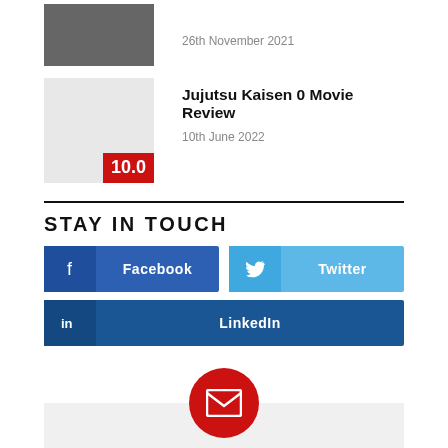26th November 2021
Jujutsu Kaisen 0 Movie Review
10th June 2022
STAY IN TOUCH
[Figure (other): Facebook social share button]
[Figure (other): Twitter social share button]
[Figure (other): LinkedIn social share button]
[Figure (other): Email/newsletter signup with red mail circle icon and grey box]